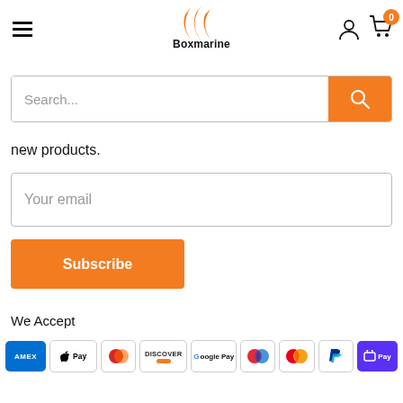[Figure (logo): Boxmarine logo with orange chevron/double-parenthesis graphic above the text 'Boxmarine' in bold black]
[Figure (screenshot): Search bar with placeholder text 'Search...' and orange search button on the right]
new products.
[Figure (screenshot): Email input field with placeholder text 'Your email']
[Figure (screenshot): Orange Subscribe button]
We Accept
[Figure (infographic): Payment method icons: AMEX, Apple Pay, Diners Club, Discover, Google Pay, Maestro, Mastercard, PayPal, OPay]